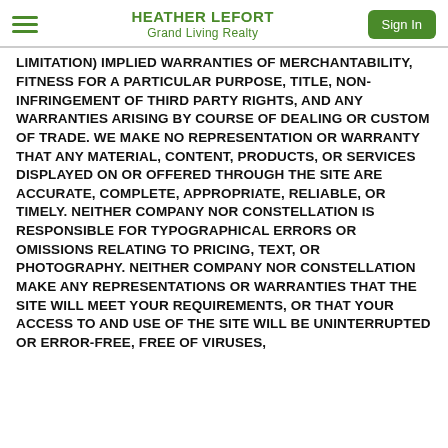HEATHER LEFORT Grand Living Realty
LIMITATION) IMPLIED WARRANTIES OF MERCHANTABILITY, FITNESS FOR A PARTICULAR PURPOSE, TITLE, NON-INFRINGEMENT OF THIRD PARTY RIGHTS, AND ANY WARRANTIES ARISING BY COURSE OF DEALING OR CUSTOM OF TRADE. WE MAKE NO REPRESENTATION OR WARRANTY THAT ANY MATERIAL, CONTENT, PRODUCTS, OR SERVICES DISPLAYED ON OR OFFERED THROUGH THE SITE ARE ACCURATE, COMPLETE, APPROPRIATE, RELIABLE, OR TIMELY. NEITHER COMPANY NOR CONSTELLATION IS RESPONSIBLE FOR TYPOGRAPHICAL ERRORS OR OMISSIONS RELATING TO PRICING, TEXT, OR PHOTOGRAPHY. NEITHER COMPANY NOR CONSTELLATION MAKE ANY REPRESENTATIONS OR WARRANTIES THAT THE SITE WILL MEET YOUR REQUIREMENTS, OR THAT YOUR ACCESS TO AND USE OF THE SITE WILL BE UNINTERRUPTED OR ERROR-FREE, FREE OF VIRUSES, MALICIOUS CODE, OR OTHER HARMFUL...